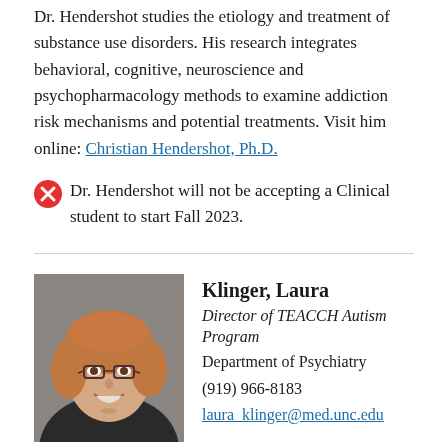Dr. Hendershot studies the etiology and treatment of substance use disorders. His research integrates behavioral, cognitive, neuroscience and psychopharmacology methods to examine addiction risk mechanisms and potential treatments. Visit him online: Christian Hendershot, Ph.D.
Dr. Hendershot will not be accepting a Clinical student to start Fall 2023.
[Figure (photo): Headshot photo of Laura Klinger, a woman with short reddish-blonde hair and glasses, smiling, wearing a dark jacket]
Klinger, Laura
Director of TEACCH Autism Program
Department of Psychiatry
(919) 966-8183
laura_klinger@med.unc.edu
Dr. Klinger studies childhood predictors of long-term outcomes in adults with autism spectrum disorder and the